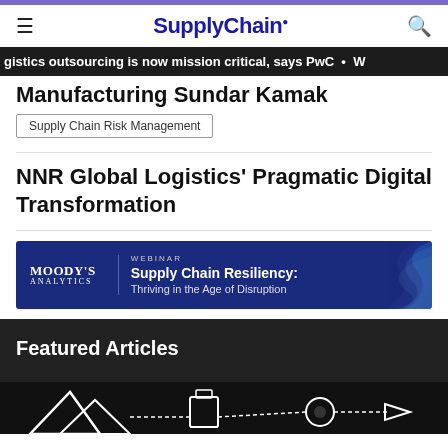SupplyChain.
gistics outsourcing is now mission critical, says PwC
Manufacturing Sundar Kamak
Supply Chain Risk Management
NNR Global Logistics’ Pragmatic Digital Transformation
[Figure (screenshot): Moody’s Analytics webinar banner: Supply Chain Resiliency: Thriving in the Age of Disruption]
Featured Articles
[Figure (photo): Dark background image with abstract white shapes, partially visible at bottom of page]